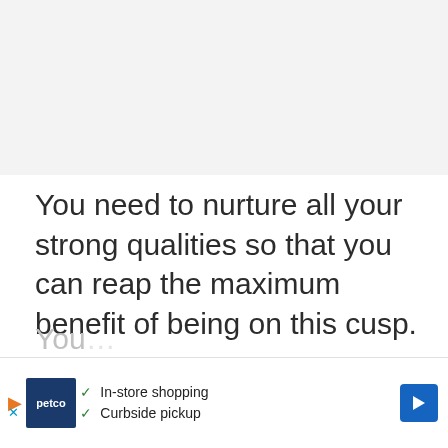[Figure (other): Placeholder image area at top of page, light gray background]
You need to nurture all your strong qualities so that you can reap the maximum benefit of being on this cusp.
Love and Compatibility for January 7 Zodiac
You...
[Figure (other): Petco advertisement banner showing In-store shopping and Curbside pickup options]